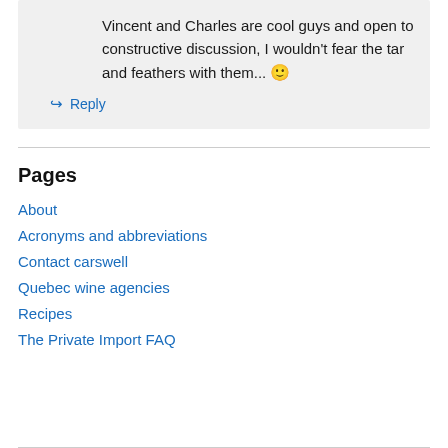Vincent and Charles are cool guys and open to constructive discussion, I wouldn't fear the tar and feathers with them... 🙂
↪ Reply
Pages
About
Acronyms and abbreviations
Contact carswell
Quebec wine agencies
Recipes
The Private Import FAQ